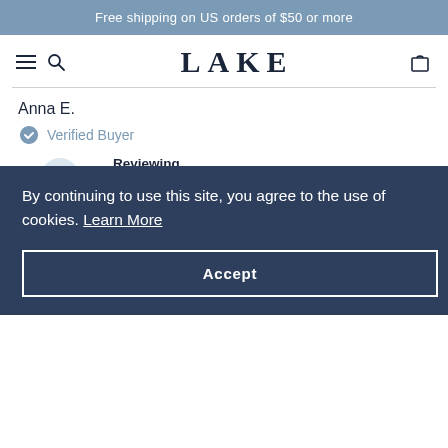Free shipping on US orders of $50 or more
[Figure (logo): LAKE brand logo with hamburger menu, search icon, and cart icon in navy blue]
Anna E.
Verified Buyer
Reviewing
Schumacher x LAKE Pima Shorts Set in Cobalt
By continuing to use this site, you agree to the use of cookies. Learn More
Accept
Size Purchased: L
Weight: 140 - 149lbs